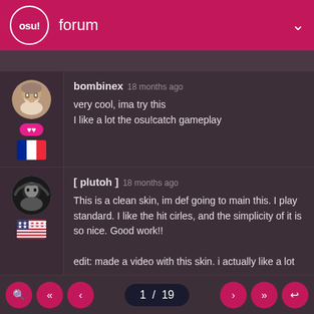osu! forum
bombinex 18 months ago
very cool, ima try this
I like a lot the osu!catch gameplay
[ plutoh ] 18 months ago
This is a clean skin, im def going to main this. I play standard. I like the hit cirles, and the simplicity of it is so nice. Good work!!

edit: made a video with this skin. i actually like a lot

Last edited by [ plutoh ] 18 months ago, edited 1 time in total.
abraker 18 months ago
1 / 19